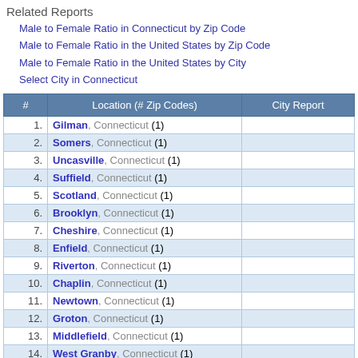Related Reports
Male to Female Ratio in Connecticut by Zip Code
Male to Female Ratio in the United States by Zip Code
Male to Female Ratio in the United States by City
Select City in Connecticut
| # | Location (# Zip Codes) | City Report |
| --- | --- | --- |
| 1. | Gilman, Connecticut (1) |  |
| 2. | Somers, Connecticut (1) |  |
| 3. | Uncasville, Connecticut (1) |  |
| 4. | Suffield, Connecticut (1) |  |
| 5. | Scotland, Connecticut (1) |  |
| 6. | Brooklyn, Connecticut (1) |  |
| 7. | Cheshire, Connecticut (1) |  |
| 8. | Enfield, Connecticut (1) |  |
| 9. | Riverton, Connecticut (1) |  |
| 10. | Chaplin, Connecticut (1) |  |
| 11. | Newtown, Connecticut (1) |  |
| 12. | Groton, Connecticut (1) |  |
| 13. | Middlefield, Connecticut (1) |  |
| 14. | West Granby, Connecticut (1) |  |
| 15. | North Granby, Connecticut (1) |  |
| 16. | Roxbury, Connecticut (1) |  |
| 17. | Sterling, Connecticut (1) |  |
| 18. | North Franklin, Connecticut (1) |  |
| 19. | Preston, Connecticut (1) |  |
| 20. | Oneco, Connecticut (1) |  |